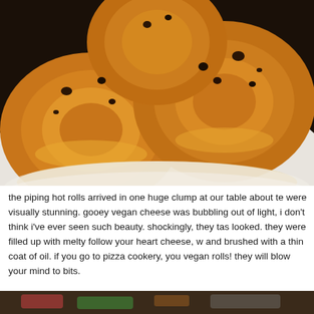[Figure (photo): Close-up photo of golden-brown baked rolls arranged in a clump on a white plate, with gooey vegan cheese bubbling out and dark charred spots on top.]
the piping hot rolls arrived in one huge clump at our table about te were visually stunning. gooey vegan cheese was bubbling out of light, i don't think i've ever seen such beauty. shockingly, they tas looked. they were filled up with melty follow your heart cheese, w and brushed with a thin coat of oil. if you go to pizza cookery, you vegan rolls! they will blow your mind to bits.
[Figure (photo): Partial photo at the bottom of the page, blurred, showing what appears to be food items on a surface.]